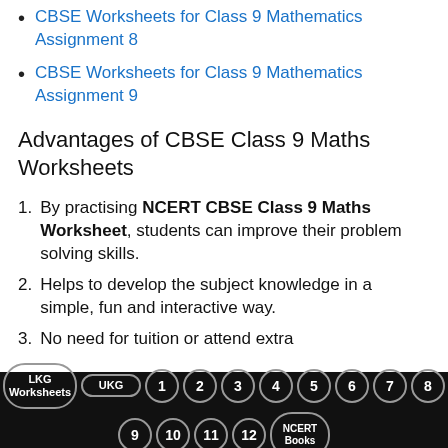CBSE Worksheets for Class 9 Mathematics Assignment 8
CBSE Worksheets for Class 9 Mathematics Assignment 9
Advantages of CBSE Class 9 Maths Worksheets
1. By practising NCERT CBSE Class 9 Maths Worksheet, students can improve their problem solving skills.
2. Helps to develop the subject knowledge in a simple, fun and interactive way.
3. No need for tuition or attend extra
LKG Worksheets UKG 1 2 3 4 5 6 7 8 9 10 11 12 NCERT Books